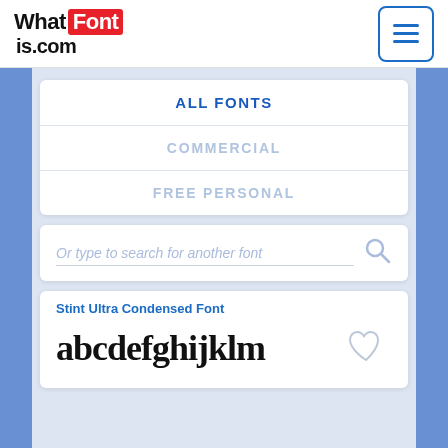[Figure (logo): WhatFontIs.com logo with red box around 'Font']
[Figure (other): Hamburger menu button with three horizontal lines in blue border box]
ALL FONTS
COMMERCIAL
FREE PERSONAL
Or type to search for another font
Stint Ultra Condensed Font
abcdefghijklm